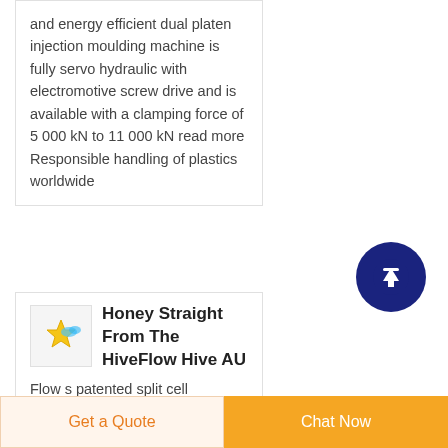and energy efficient dual platen injection moulding machine is fully servo hydraulic with electromotive screw drive and is available with a clamping force of 5 000 kN to 11 000 kN read more Responsible handling of plastics worldwide
[Figure (logo): Small colorful logo with star/flower graphic in yellow and blue]
Honey Straight From The HiveFlow Hive AU
Flow s patented split cell technology uses partially formed comb that the bees
[Figure (other): Dark navy blue circular scroll-to-top button with white upward arrow]
Get a Quote
Chat Now